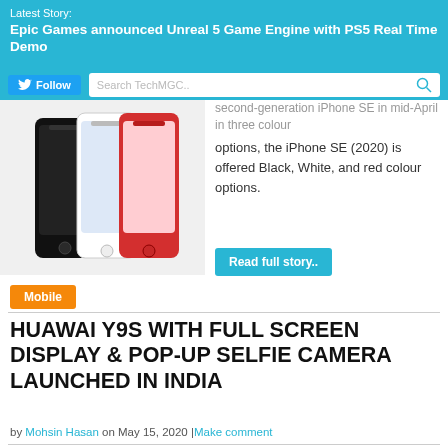Latest Story:
Epic Games announced Unreal 5 Game Engine with PS5 Real Time Demo
second-generation iPhone SE in mid-April in three colour options, the iPhone SE (2020) is offered Black, White, and red colour options.
[Figure (photo): Three iPhones in black, white, and red colors shown side by side]
Read full story..
Mobile
HUAWAI Y9S WITH FULL SCREEN DISPLAY & POP-UP SELFIE CAMERA LAUNCHED IN INDIA
by Mohsin Hasan on May 15, 2020 |Make comment
[Figure (photo): Huawei Y9s smartphone with pop-up selfie camera shown from the front]
Huawei Y9s will be soon available to purchase online in Indian market. The phone